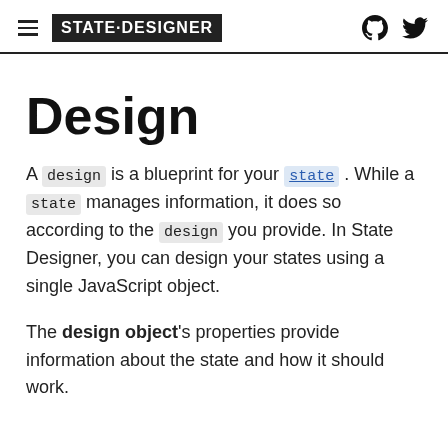STATE·DESIGNER
Design
A design is a blueprint for your state. While a state manages information, it does so according to the design you provide. In State Designer, you can design your states using a single JavaScript object.
The design object's properties provide information about the state and how it should work.